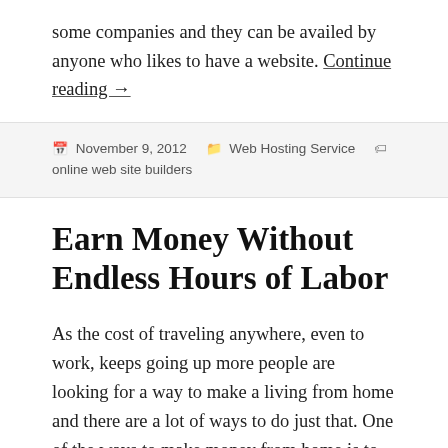some companies and they can be availed by anyone who likes to have a website. Continue reading →
November 9, 2012   Web Hosting Service   online web site builders
Earn Money Without Endless Hours of Labor
As the cost of traveling anywhere, even to work, keeps going up more people are looking for a way to make a living from home and there are a lot of ways to do just that. One of the ways to make money from home is to find a product that is private label, that is product that the manufacturer allows you to put your name on for a fee and then sell it to the public,